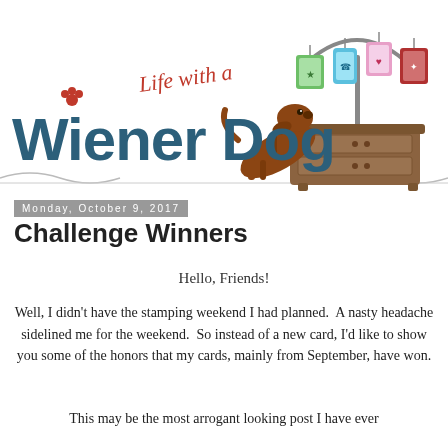Angela Walters
kebord2@gmail.com
[Figure (illustration): Life with a Wiener Dog blog logo featuring a dachshund dog on its hind legs, a dresser, and hanging colorful cards on a lamp stand. Text reads 'Life with a Wiener Dog' in stylized font with a red paw print.]
Monday, October 9, 2017
Challenge Winners
Hello, Friends!
Well, I didn't have the stamping weekend I had planned.  A nasty headache sidelined me for the weekend.  So instead of a new card, I'd like to show you some of the honors that my cards, mainly from September, have won.
This may be the most arrogant looking post I have ever